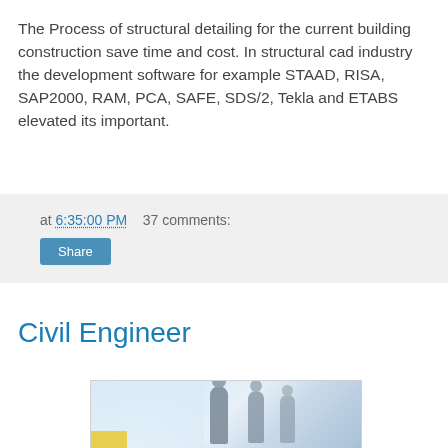The Process of structural detailing for the current building construction save time and cost. In structural cad industry the development software for example STAAD, RISA, SAP2000, RAM, PCA, SAFE, SDS/2, Tekla and ETABS elevated its important.
at 6:35:00 PM    37 comments:
Share
Civil Engineer
[Figure (photo): Photo of people (silhouettes) in an office or meeting setting, appears to show two or three individuals in a bright, light-filled room.]